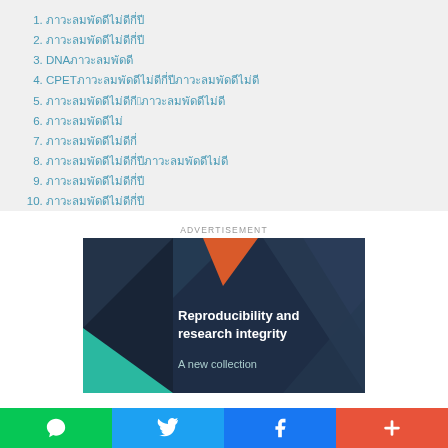1. ภาวะลมพัดดีไม่ดีกี่ปี
2. ภาวะลมพัดดีไม่ดีกี่ปี
3. DNAภาวะลมพัดดี
4. CPETภาวะลมพัดดีไม่ดีกี่ปีภาวะลมพัดดีไม่ดี
5. ภาวะลมพัดดีไม่ดีกี่2ภาวะลมพัดดีไม่ดี
6. ภาวะลมพัดดีไม่
7. ภาวะลมพัดดีไม่ดีกี่
8. ภาวะลมพัดดีไม่ดีกี่ปีภาวะลมพัดดีไม่ดี
9. ภาวะลมพัดดีไม่ดีกี่ปี
10. ภาวะลมพัดดีไม่ดีกี่ปี
ADVERTISEMENT
[Figure (illustration): Advertisement banner for 'Reproducibility and research integrity - A new collection' with dark blue geometric background, teal and orange triangular shapes, and white bold text.]